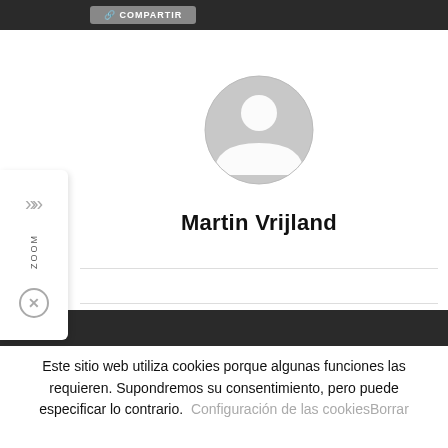[Figure (screenshot): Dark top bar with a grey 'COMPARTIR' button]
[Figure (illustration): Generic grey user/avatar circle icon — silhouette of person in circle]
Martin Vrijland
[Figure (screenshot): Sidebar panel with chevrons, ZOOM label, and close (X) button]
DEJAR UNA RESPUESTA
Este sitio web utiliza cookies porque algunas funciones las requieren. Supondremos su consentimiento, pero puede especificar lo contrario.  Configuración de las cookiesBorrar